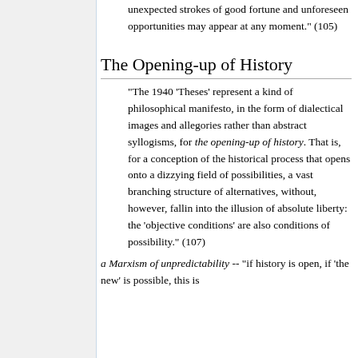unexpected strokes of good fortune and unforeseen opportunities may appear at any moment." (105)
The Opening-up of History
"The 1940 'Theses' represent a kind of philosophical manifesto, in the form of dialectical images and allegories rather than abstract syllogisms, for the opening-up of history. That is, for a conception of the historical process that opens onto a dizzying field of possibilities, a vast branching structure of alternatives, without, however, fallin into the illusion of absolute liberty: the 'objective conditions' are also conditions of possibility." (107)
a Marxism of unpredictability -- "if history is open, if 'the new' is possible, this is